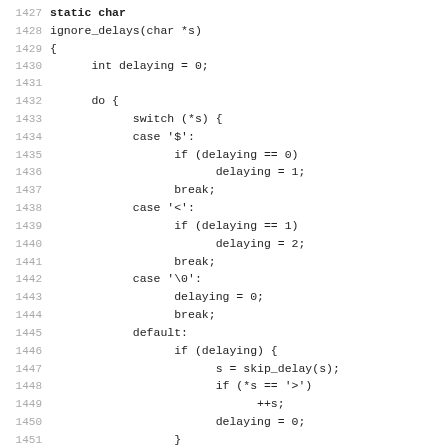[Figure (other): Source code listing in C, lines 1427-1459, showing ignore_delays function with switch-case logic for parsing delay sequences]